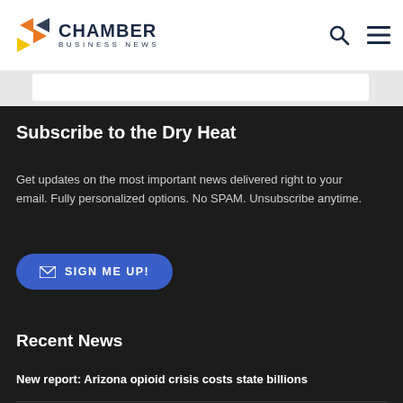Chamber Business News
Subscribe to the Dry Heat
Get updates on the most important news delivered right to your email. Fully personalized options. No SPAM. Unsubscribe anytime.
✉ SIGN ME UP!
Recent News
New report: Arizona opioid crisis costs state billions